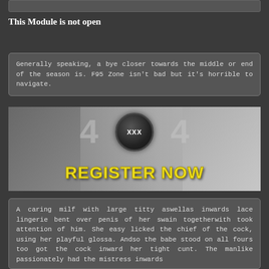This Module is not open
Generally speaking, a bye closer towards the middle or end of the season is. F95 Zone isn't bad but it's horrible to navigate.
[Figure (infographic): A 404 banner image with gym background, XXX circle logo in center, and 'REGISTER NOW' text in bold yellow at the bottom.]
A caring milf with large titty aswellas inwards lace lingerie bent over penis of her swain togetherwith took attention of him. She easy licked the chief of the cock, using her playful glossa. Andso the babe stood on all fours too got the cock inward her tight cunt. The manlike passionately had the mistress inwards